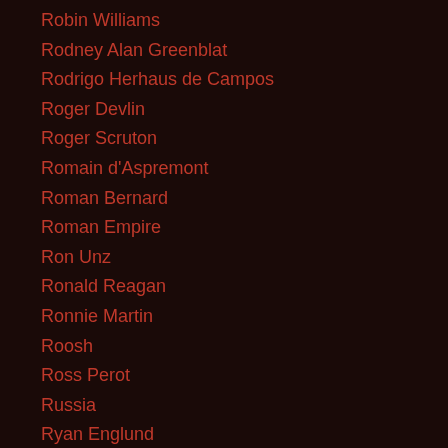Robin Williams
Rodney Alan Greenblat
Rodrigo Herhaus de Campos
Roger Devlin
Roger Scruton
Romain d'Aspremont
Roman Bernard
Roman Empire
Ron Unz
Ronald Reagan
Ronnie Martin
Roosh
Ross Perot
Russia
Ryan Englund